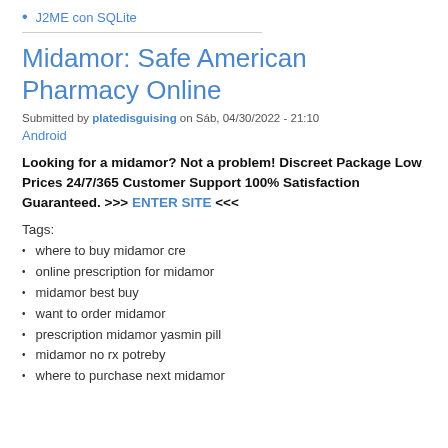J2ME con SQLite
Midamor: Safe American Pharmacy Online
Submitted by platedisguising on Sáb, 04/30/2022 - 21:10
Android
Looking for a midamor? Not a problem! Discreet Package Low Prices 24/7/365 Customer Support 100% Satisfaction Guaranteed. >>> ENTER SITE <<<
Tags:
where to buy midamor cre
online prescription for midamor
midamor best buy
want to order midamor
prescription midamor yasmin pill
midamor no rx potreby
where to purchase next midamor